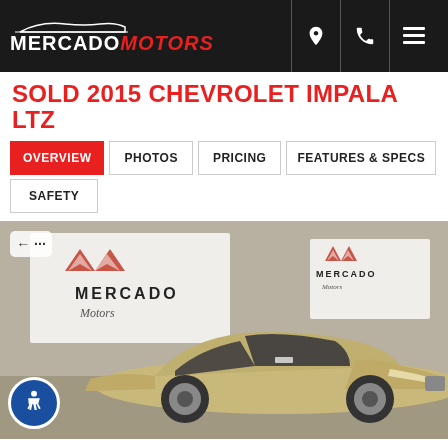Mercado Motors
SOLD 2015 CHEVROLET IMPALA LTZ
OVERVIEW
PHOTOS
PRICING
FEATURES & SPECS
SAFETY
[Figure (photo): 2015 Chevrolet Impala LTZ in gold/champagne color parked in front of Mercado Motors dealership banners, showing front 3/4 view of the vehicle. Two Mercado Motors branded banners visible in the background.]